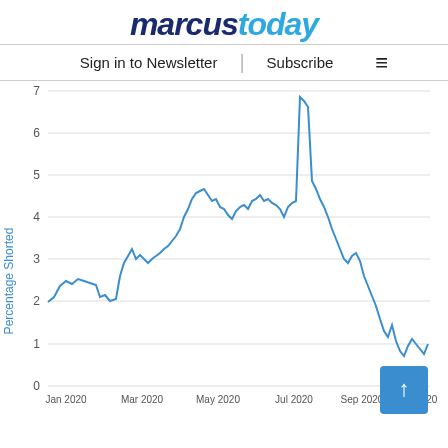marcustoday — Sign in to Newsletter | Subscribe
[Figure (continuous-plot): Line chart showing Percentage Shorted over time from Jan 2020 to Nov 2020. The line starts around 2.0 in Jan 2020, rises to peak near 6.8 around Jul 2020, dips, rises again to another peak near 6.8 around Sep 2020, then sharply declines to approximately 1.0 by Nov 2020.]